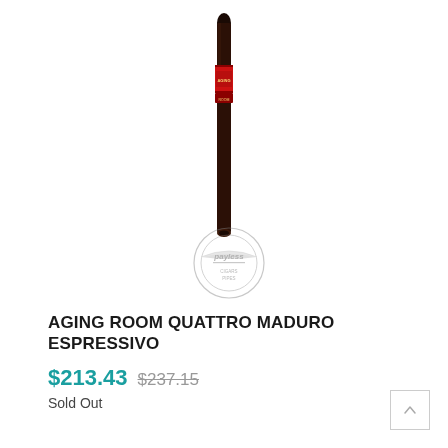[Figure (photo): A dark brown maduro cigar standing upright with a red and black band label, overlaid with a Payless Cigars & Pipes watermark stamp.]
AGING ROOM QUATTRO MADURO ESPRESSIVO
$213.43  $237.15
Sold Out